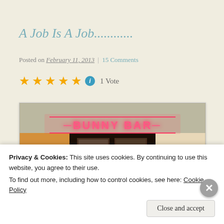A Job Is A Job............
Posted on February 11, 2013 | 15 Comments
★★★★★ ℹ 1 Vote
[Figure (photo): Interior of a bar/club with pink neon sign reading 'BUNNY BAR', people visible inside]
Privacy & Cookies: This site uses cookies. By continuing to use this website, you agree to their use.
To find out more, including how to control cookies, see here: Cookie Policy
Close and accept